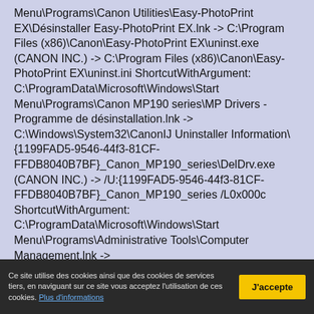Menu\Programs\Canon Utilities\Easy-PhotoPrint EX\Désinstaller Easy-PhotoPrint EX.lnk -> C:\Program Files (x86)\Canon\Easy-PhotoPrint EX\uninst.exe (CANON INC.) -> C:\Program Files (x86)\Canon\Easy-PhotoPrint EX\uninst.ini ShortcutWithArgument: C:\ProgramData\Microsoft\Windows\Start Menu\Programs\Canon MP190 series\MP Drivers - Programme de désinstallation.lnk -> C:\Windows\System32\CanonIJ Uninstaller Information\{1199FAD5-9546-44f3-81CF-FFDB8040B7BF}_Canon_MP190_series\DelDrv.exe (CANON INC.) -> /U:{1199FAD5-9546-44f3-81CF-FFDB8040B7BF}_Canon_MP190_series /L0x000c ShortcutWithArgument: C:\ProgramData\Microsoft\Windows\Start Menu\Programs\Administrative Tools\Computer Management.lnk -> C:\Windows\System32\compmgmt.msc () -> /s ShortcutWithArgument: C:\ProgramData\Microsoft\Windows\Start
Ce site utilise des cookies ainsi que des cookies de services tiers, en naviguant sur ce site vous acceptez l'utilisation de ces cookies. Plus d'informations